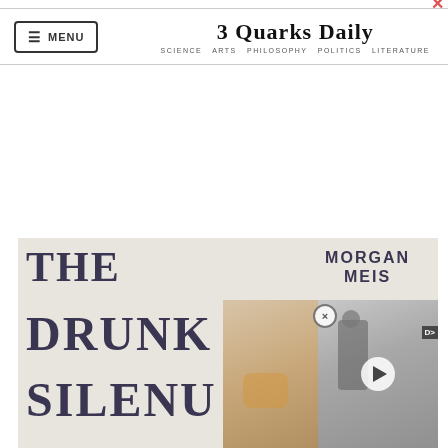3 Quarks Daily — SCIENCE ARTS PHILOSOPHY POLITICS LITERATURE
[Figure (screenshot): Book cover advertisement for 'The Drunk Silenu' by Morgan Meis, shown as a banner image with dark text on a textured light background, partially overlaid by a video player thumbnail showing a man working and a play button.]